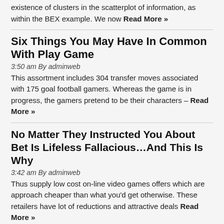existence of clusters in the scatterplot of information, as within the BEX example. We now Read More »
Six Things You May Have In Common With Play Game
3:50 am By adminweb
This assortment includes 304 transfer moves associated with 175 goal football gamers. Whereas the game is in progress, the gamers pretend to be their characters – Read More »
No Matter They Instructed You About Bet Is Lifeless Fallacious…And This Is Why
3:42 am By adminweb
Thus supply low cost on-line video games offers which are approach cheaper than what you'd get otherwise. These retailers have lot of reductions and attractive deals Read More »
Automated Tackle Harm Danger Evaluation In Contact-Based Mostly Sports – A Rugby Union Example
3:16 am By adminweb
The candidate could or is probably not there, but you can bet that a